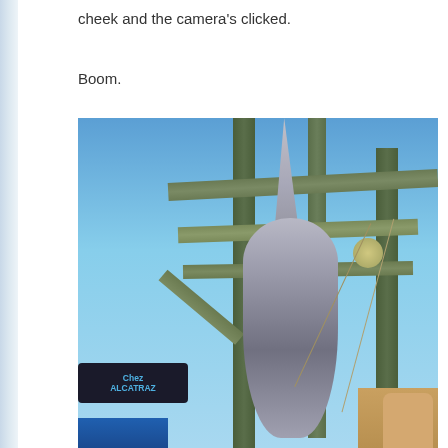cheek and the camera's clicked.
Boom.
[Figure (photo): A large shark sculpture or prop hanging from a wooden scaffolding structure against a blue sky. In the lower left is a sign reading 'Chez Alcatraz'. Buildings are visible in the background lower right, with a blue awning at bottom left.]